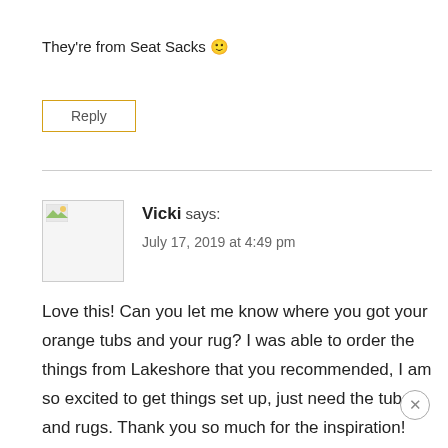They're from Seat Sacks 🙂
Reply
Vicki says:
July 17, 2019 at 4:49 pm
Love this! Can you let me know where you got your orange tubs and your rug? I was able to order the things from Lakeshore that you recommended, I am so excited to get things set up, just need the tubs and rugs. Thank you so much for the inspiration!